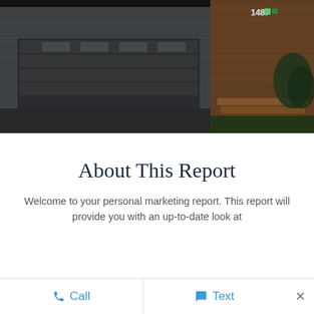[Figure (photo): Exterior photo of a house at night showing a gray garage door on the left and brick entrance steps with the address number 1487 visible, with landscaping including shrubs and a lawn]
About This Report
Welcome to your personal marketing report. This report will provide you with an up-to-date look at the status of your listing from when your agent...
Call   Text   ×